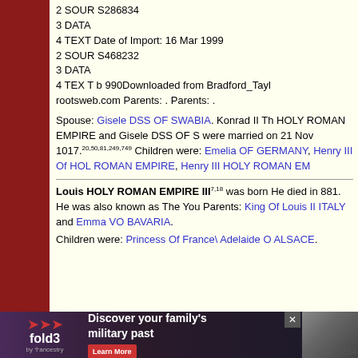2 SOUR S286834
3 DATA
4 TEXT Date of Import: 16 Mar 1999
2 SOUR S468232
3 DATA
4 TEX T b 990Downloaded from Bradford_Tayl rootsweb.com Parents: . Parents: .
Spouse: Gisele DSS OF SWABIA. Konrad II Th HOLY ROMAN EMPIRE and Gisele DSS OF S were married on 21 Nov 1017.20,50,81,249,749 Children were: Emelia OF GERMANY, Henry III Of HOL ROMAN EMPIRE, Henry III HOLY ROMAN EM
Louis HOLY ROMAN EMPIRE III7,18 was born He died in 881. He was also known as The You Parents: King Of Louis II ITALY and Emma VO BAVARIA.
Children were: Princess Of France\ Adelaide O ALSACE.
[Figure (infographic): fold3 by Ancestry advertisement banner: Discover your family's military past with Learn More button and historical photo]